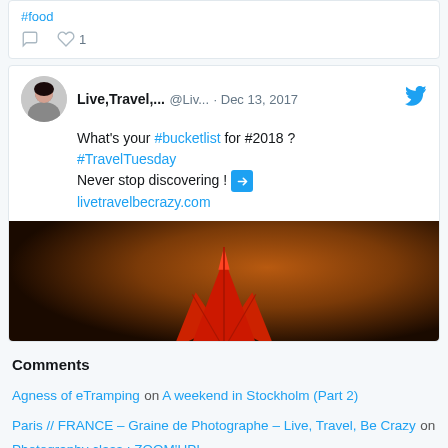#food
comment icon, heart icon 1
Live,Travel,... @Liv... · Dec 13, 2017 — What's your #bucketlist for #2018 ? #TravelTuesday Never stop discovering ! livetravelbecrazy.com
[Figure (photo): Close-up photo of a red maple leaf against a dark brown/orange blurred background]
Comments
Agness of eTramping on A weekend in Stockholm (Part 2)
Paris // FRANCE – Graine de Photographe – Live, Travel, Be Crazy on Photography class : ZOOM'UP!